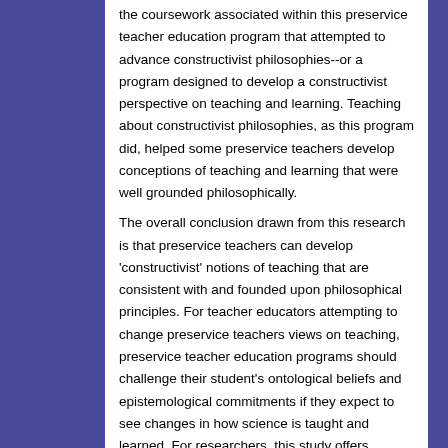the coursework associated within this preservice teacher education program that attempted to advance constructivist philosophies--or a program designed to develop a constructivist perspective on teaching and learning. Teaching about constructivist philosophies, as this program did, helped some preservice teachers develop conceptions of teaching and learning that were well grounded philosophically.
The overall conclusion drawn from this research is that preservice teachers can develop 'constructivist' notions of teaching that are consistent with and founded upon philosophical principles. For teacher educators attempting to change preservice teachers views on teaching, preservice teacher education programs should challenge their student's ontological beliefs and epistemological commitments if they expect to see changes in how science is taught and learned. For researchers, this study offers insights into the reasons that preservice teachers give for changes in their thinking about learning to teach.